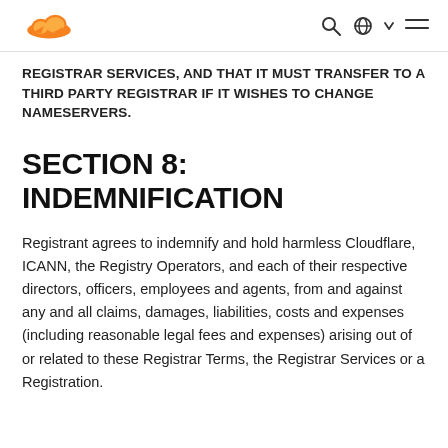Cloudflare logo with navigation icons
REGISTRAR SERVICES, AND THAT IT MUST TRANSFER TO A THIRD PARTY REGISTRAR IF IT WISHES TO CHANGE NAMESERVERS.
SECTION 8: INDEMNIFICATION
Registrant agrees to indemnify and hold harmless Cloudflare, ICANN, the Registry Operators, and each of their respective directors, officers, employees and agents, from and against any and all claims, damages, liabilities, costs and expenses (including reasonable legal fees and expenses) arising out of or related to these Registrar Terms, the Registrar Services or a Registration.